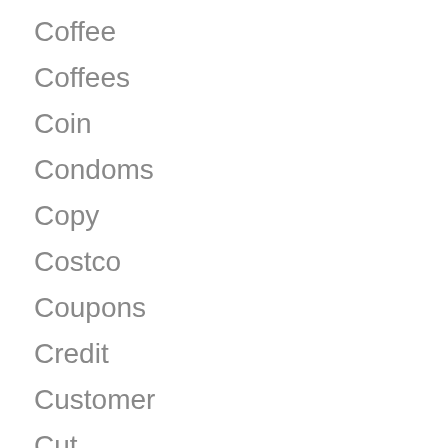Coffee
Coffees
Coin
Condoms
Copy
Costco
Coupons
Credit
Customer
Cut
Cvs
Delivery